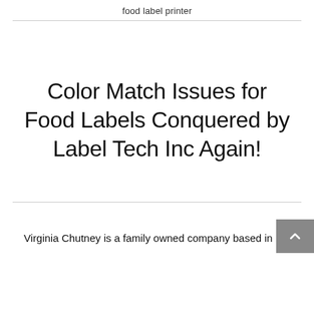food label printer
Color Match Issues for Food Labels Conquered by Label Tech Inc Again!
Virginia Chutney is a family owned company based in